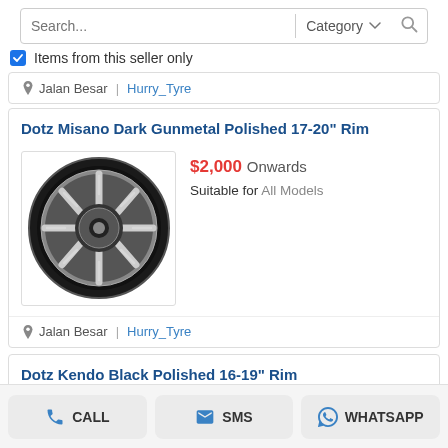[Figure (screenshot): Search bar with text placeholder 'Search...' and Category dropdown]
Items from this seller only
Jalan Besar | Hurry_Tyre
Dotz Misano Dark Gunmetal Polished 17-20" Rim
[Figure (photo): Dark gunmetal polished multi-spoke alloy wheel rim]
$2,000 Onwards
Suitable for All Models
Jalan Besar | Hurry_Tyre
Dotz Kendo Black Polished 16-19" Rim
CALL  SMS  WHATSAPP